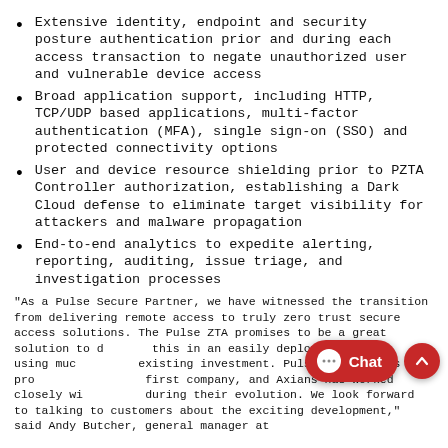Extensive identity, endpoint and security posture authentication prior and during each access transaction to negate unauthorized user and vulnerable device access
Broad application support, including HTTP, TCP/UDP based applications, multi-factor authentication (MFA), single sign-on (SSO) and protected connectivity options
User and device resource shielding prior to PZTA Controller authorization, establishing a Dark Cloud defense to eliminate target visibility for attackers and malware propagation
End-to-end analytics to expedite alerting, reporting, auditing, issue triage, and investigation processes
"As a Pulse Secure Partner, we have witnessed the transition from delivering remote access to truly zero trust secure access solutions. The Pulse ZTA promises to be a great solution to deliver this in an easily deployable offer, using much of the existing investment. Pulse have always provided a channel first company, and Axians has worked closely with Pulse during their evolution. We look forward to talking to customers about the exciting development," said Andy Butcher, general manager at